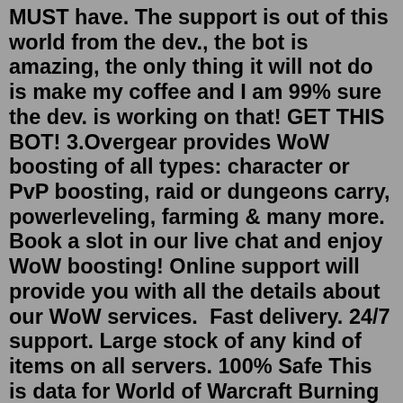MUST have. The support is out of this world from the dev., the bot is amazing, the only thing it will not do is make my coffee and I am 99% sure the dev. is working on that! GET THIS BOT! 3.Overgear provides WoW boosting of all types: character or PvP boosting, raid or dungeons carry, powerleveling, farming & many more. Book a slot in our live chat and enjoy WoW boosting! Online support will provide you with all the details about our WoW services.  Fast delivery. 24/7 support. Large stock of any kind of items on all servers. 100% Safe This is data for World of Warcraft Burning Crusade Classic servers You can click on server to view its population over time. TBC Classic. Season of Mastery. Classic Archive. Americas & Oceania. Europe. Russia. PvP. PvE. PvP RP. PvE RP. PvE (WCL) PvP (Arena) Data for reset #63 (from 9 August 2022 to 16 August 2022) All selected realmsI'm looking for a gear planner. I PvP and with the introduction of legion m+ and new gear coming in 9.2, I'm wondering if there is a planner. I really want to optimize my stats. Currently have 46% haste